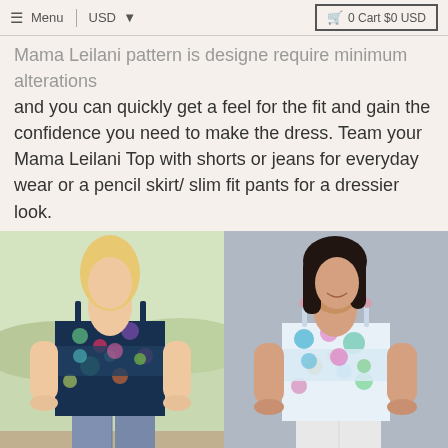≡ Menu  |  USD  ▼      🛒 0 Cart $0 USD
Mama Leilani pattern is designed require minimum alterations and you can quickly get a feel for the fit and gain the confidence you need to make the dress. Team your Mama Leilani Top with shorts or jeans for everyday wear or a pencil skirt/ slim fit pants for a dressier look.
[Figure (photo): Two side-by-side photos of women wearing a floral layered tank top. Left photo shows a blonde woman in a dark floral print top with blue jeans outdoors. Right photo shows a dark-haired woman in a pastel floral top with white shorts against a gray wall.]